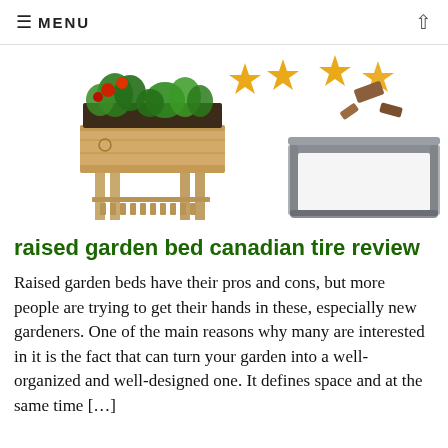≡ MENU
[Figure (photo): Two raised garden beds: a wooden elevated planter box with vegetables growing in it on the left, and decorative stars/wood pieces above-right, plus a grey metal raised garden bed on the right.]
raised garden bed canadian tire review
Raised garden beds have their pros and cons, but more people are trying to get their hands in these, especially new gardeners. One of the main reasons why many are interested in it is the fact that can turn your garden into a well-organized and well-designed one. It defines space and at the same time […]